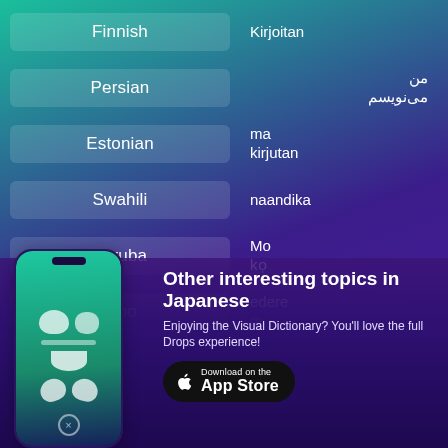| Language | Translation |
| --- | --- |
| Finnish | Kirjoitan |
| Persian | من می‌نویسم |
| Estonian | ma kirjutan |
| Swahili | naandika |
| Yoruba | Mo kọ |
| Igbo | edere m |
Other interesting topics in Japanese
Enjoying the Visual Dictionary? You'll love the full Drops experience!
[Figure (screenshot): Smartphone showing the Drops language learning app interface with visual dictionary items]
Download on the App Store